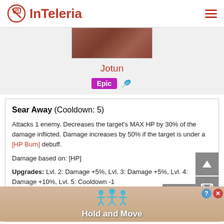InTeleria
[Figure (screenshot): Screenshot of a game character card for 'Jotun' with Epic rarity badge]
Jotun
Epic
Sear Away (Cooldown: 5)
Attacks 1 enemy. Decreases the target's MAX HP by 30% of the damage inflicted. Damage increases by 50% if the target is under a [HP Burn] debuff.
Damage based on: [HP]
Upgrades: Lvl. 2: Damage +5%, Lvl. 3: Damage +5%, Lvl. 4: Damage +10%, Lvl. 5: Cooldown -1
[Figure (screenshot): Ad banner for Hold and Move game showing cartoon figures on a lane]